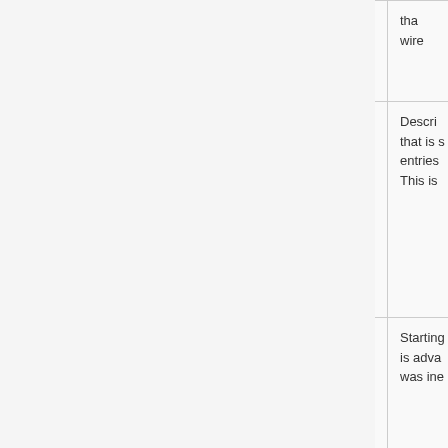| Parameter | Description |
| --- | --- |
| radio-name (string; Default: MAC address of an interface) | Descriptive name that is shown in entries... This is |
| rate-selection (advanced | legacy; Default: advanced) | Starting... is adva... was ine... |
| rate-set (configured | default; Default: default) | Two op...
• defa... sup... Val... sup... hav...
• con... bas... rate... Re... |
| rx-chains (list of integer [0..3]; Default: 0) | Which ... |